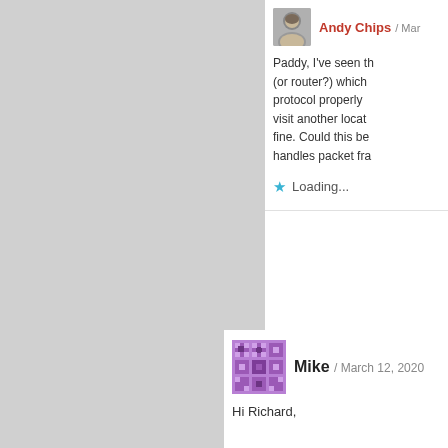Andy Chips / Mar...
Paddy, I've seen th... (or router?) which... protocol properly... visit another locat... fine. Could this be... handles packet fra...
Loading...
Mike / March 12, 2020
Hi Richard,
Thanks for all the gre... working but got one... you have seen it.